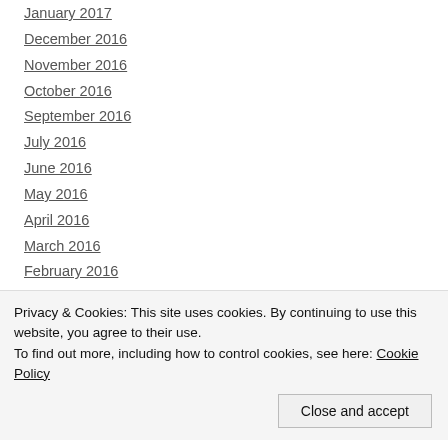January 2017
December 2016
November 2016
October 2016
September 2016
July 2016
June 2016
May 2016
April 2016
March 2016
February 2016
January 2016
December 2015
Privacy & Cookies: This site uses cookies. By continuing to use this website, you agree to their use.
To find out more, including how to control cookies, see here: Cookie Policy
Close and accept